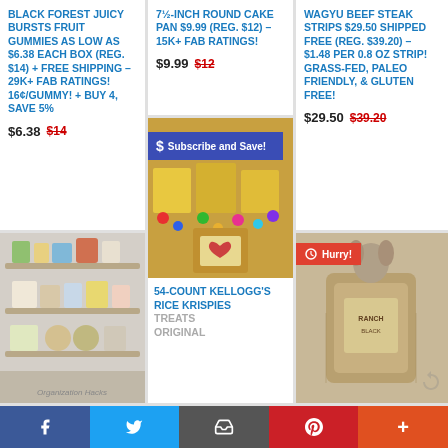BLACK FOREST JUICY BURSTS FRUIT GUMMIES AS LOW AS $6.38 EACH BOX (REG. $14) + FREE SHIPPING – 29K+ FAB RATINGS! 16¢/GUMMY! + BUY 4, SAVE 5%
$6.38  $14
7½-INCH ROUND CAKE PAN $9.99 (REG. $12) – 15K+ FAB RATINGS!
$9.99  $12
WAGYU BEEF STEAK STRIPS $29.50 SHIPPED FREE (REG. $39.20) – $1.48 PER 0.8 OZ STRIP! GRASS-FED, PALEO FRIENDLY, & GLUTEN FREE!
$29.50  $39.20
[Figure (photo): Fridge/pantry organization photo with text 'Organization Hacks']
$ Subscribe and Save!
[Figure (photo): Rice Krispies treats box with colorful candies]
54-COUNT KELLOGG'S RICE KRISPIES TREATS ORIGINAL
Hurry!
[Figure (photo): Dog product / burlap bag product photo]
f  Twitter  Email  Pinterest  +